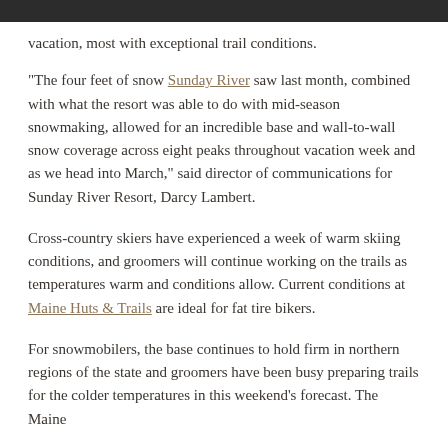vacation, most with exceptional trail conditions.
"The four feet of snow Sunday River saw last month, combined with what the resort was able to do with mid-season snowmaking, allowed for an incredible base and wall-to-wall snow coverage across eight peaks throughout vacation week and as we head into March," said director of communications for Sunday River Resort, Darcy Lambert.
Cross-country skiers have experienced a week of warm skiing conditions, and groomers will continue working on the trails as temperatures warm and conditions allow. Current conditions at Maine Huts & Trails are ideal for fat tire bikers.
For snowmobilers, the base continues to hold firm in northern regions of the state and groomers have been busy preparing trails for the colder temperatures in this weekend's forecast. The Maine